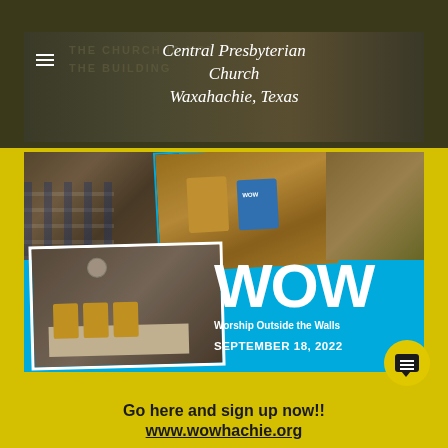Central Presbyterian Church
Waxahachie, Texas
[Figure (photo): WOW (Worship Outside the Walls) event promotional banner with photo collage showing volunteers in yellow shirts, dated September 18, 2022]
Go here and sign up now!!
www.wowhachie.org